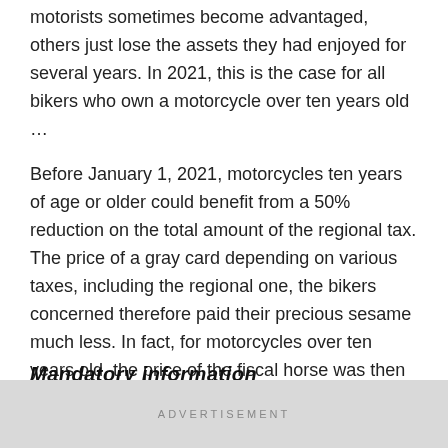motorists sometimes become advantaged, others just lose the assets they had enjoyed for several years. In 2021, this is the case for all bikers who own a motorcycle over ten years old …
Before January 1, 2021, motorcycles ten years of age or older could benefit from a 50% reduction on the total amount of the regional tax. The price of a gray card depending on various taxes, including the regional one, the bikers concerned therefore paid their precious sesame much less. In fact, for motorcycles over ten years old, the price of the fiscal horse was then halved.
Mandatory information
ADVERTISEMENT